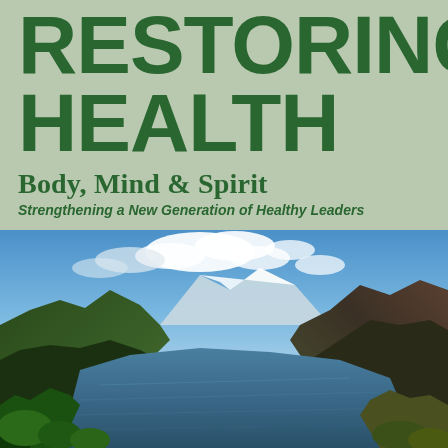RESTORING HEALTH
Body, Mind & Spirit
Strengthening a New Generation of Healthy Leaders
[Figure (photo): Scenic mountain lake with forested slopes, snow-capped mountains in the background, blue sky with white clouds, lush green vegetation in the foreground]